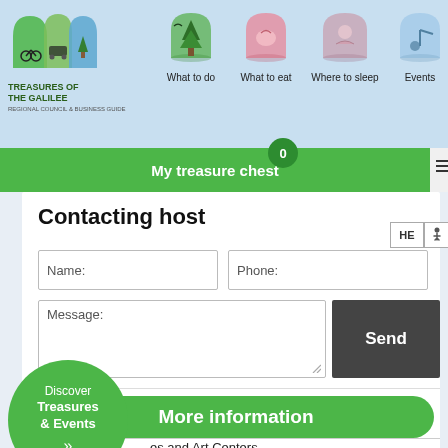[Figure (logo): Treasures of the Galilee logo with illustrated icons]
What to do  What to eat  Where to sleep  Events
My treasure chest
Quick navigation menu
Contacting host
Name:
Phone:
Message:
Send
More information
Discover Treasures & Events »
es and Art Centers